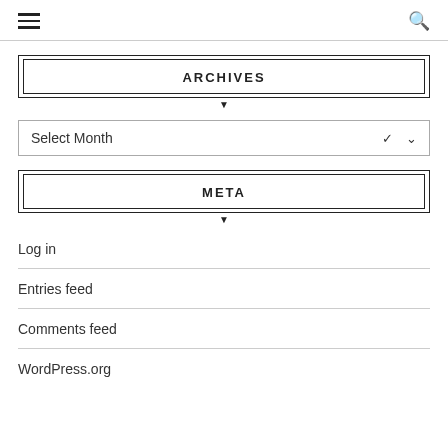☰  🔍
ARCHIVES
Select Month
META
Log in
Entries feed
Comments feed
WordPress.org